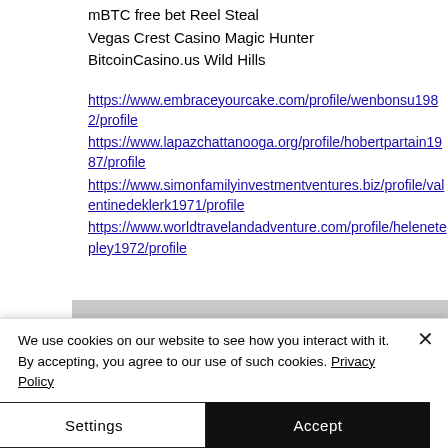mBTC free bet Reel Steal
Vegas Crest Casino Magic Hunter
BitcoinCasino.us Wild Hills
https://www.embraceyourcake.com/profile/wenbonsu1982/profile https://www.lapazchattanooga.org/profile/hobertpartain1987/profile https://www.simonfamilyinvestmentventures.biz/profile/valentinedeklerk1971/profile https://www.worldtravelandadventure.com/profile/helenetepley1972/profile
[Figure (other): Banner with text THE MODERN in bold uppercase letters on a gray background]
We use cookies on our website to see how you interact with it. By accepting, you agree to our use of such cookies. Privacy Policy
Settings | Accept